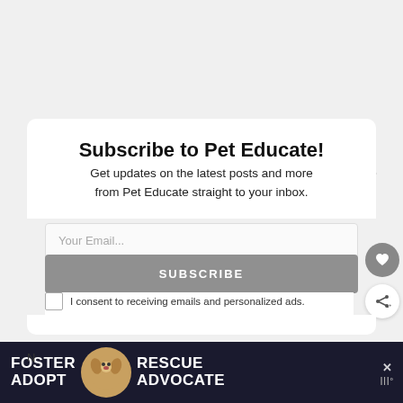[Figure (screenshot): Gray top area with watermark logo (III°) in top right]
Subscribe to Pet Educate!
Get updates on the latest posts and more from Pet Educate straight to your inbox.
Your Email...
SUBSCRIBE
I consent to receiving emails and personalized ads.
[Figure (photo): Advertisement banner at the bottom showing FOSTER ADOPT RESCUE ADVOCATE with a dog photo]
N